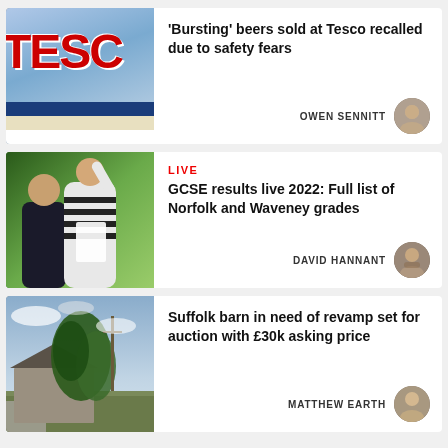[Figure (photo): Tesco store sign with red letters on white background, blue stripes below]
'Bursting' beers sold at Tesco recalled due to safety fears
OWEN SENNITT
[Figure (photo): Two people celebrating GCSE results, one raising arm in joy, holding papers]
LIVE
GCSE results live 2022: Full list of Norfolk and Waveney grades
DAVID HANNANT
[Figure (photo): Suffolk barn overgrown with vegetation, in need of revamp, under cloudy sky]
Suffolk barn in need of revamp set for auction with £30k asking price
MATTHEW EARTH